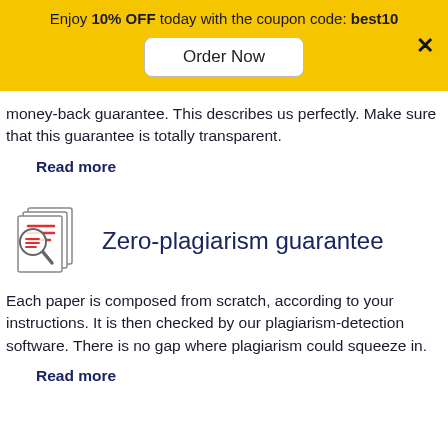Enjoy 10% OFF today with the coupon code: best10
money-back guarantee. This describes us perfectly. Make sure that this guarantee is totally transparent.
Read more
[Figure (illustration): Icon of a magnifying glass over stacked document pages with red lines]
Zero-plagiarism guarantee
Each paper is composed from scratch, according to your instructions. It is then checked by our plagiarism-detection software. There is no gap where plagiarism could squeeze in.
Read more